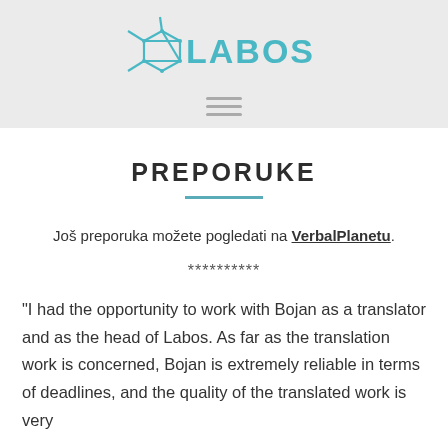[Figure (logo): Labos logo with a molecular structure graphic and teal text reading LABOS]
PREPORUKE
Još preporuka možete pogledati na VerbalPlanetu.
**********
"I had the opportunity to work with Bojan as a translator and as the head of Labos. As far as the translation work is concerned, Bojan is extremely reliable in terms of deadlines, and the quality of the translated work is very